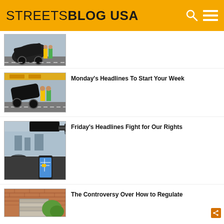STREETSBLOG USA
[Figure (photo): Crashed SUV at accident scene with workers in hi-viz vests (partial/cropped at top)]
[Figure (photo): Crashed SUV at accident scene with workers in hi-viz vests]
Monday's Headlines To Start Your Week
[Figure (photo): Interior view of car dashboard with steering wheel, phone mount, and rear-view mirror]
Friday's Headlines Fight for Our Rights
[Figure (photo): Exterior of building with brick and garage door]
The Controversy Over How to Regulate